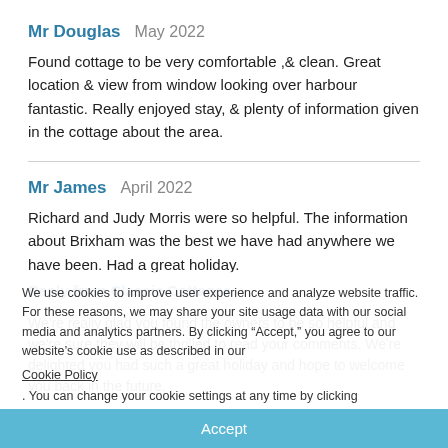Mr Douglas   May 2022
Found cottage to be very comfortable ,& clean. Great location & view from window looking over harbour fantastic. Really enjoyed stay, & plenty of information given in the cottage about the area.
Mr James   April 2022
Richard and Judy Morris were so helpful. The information about Brixham was the best we have had anywhere we have been. Had a great holiday.
Reply from Classic Cottages
We're really glad you found the owners to be so helpful and we're sure they will be thrilled to read your comments. We're delighted you had such a great holiday and hope to welcome you back in the future.
We use cookies to improve user experience and analyze website traffic. For these reasons, we may share your site usage data with our social media and analytics partners. By clicking “Accept,” you agree to our website’s cookie use as described in our
Cookie Policy
. You can change your cookie settings at any time by clicking “Preferences”.
Accept